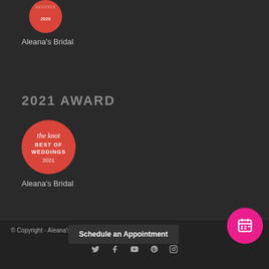[Figure (logo): The Knot Best of Weddings 2020 award badge - red circle with white text]
Aleana's Bridal
2021 AWARD
[Figure (logo): The Knot Best of Weddings 2021 award badge - red circle with white text]
Aleana's Bridal
© Copyright - Aleana's Bridal
Schedule an Appointment